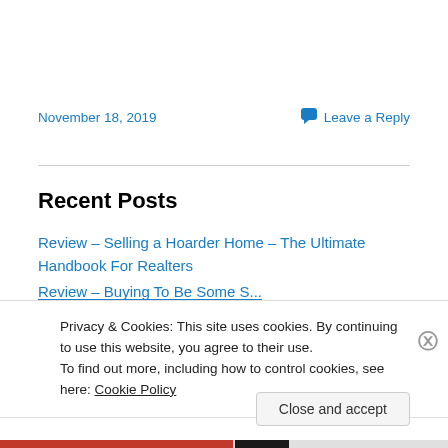November 18, 2019
Leave a Reply
Recent Posts
Review – Selling a Hoarder Home – The Ultimate Handbook For Realters
Privacy & Cookies: This site uses cookies. By continuing to use this website, you agree to their use. To find out more, including how to control cookies, see here: Cookie Policy
Close and accept